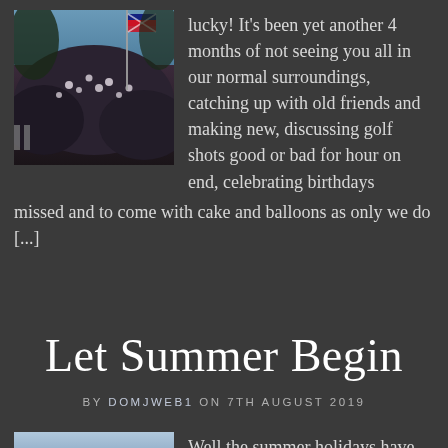[Figure (photo): Photo of a flag on a pole surrounded by flowering bushes and trees against a blue sky]
lucky! It’s been yet another 4 months of not seeing you all in our normal surroundings, catching up with old friends and making new, discussing golf shots good or bad for hour on end, celebrating birthdays missed and to come with cake and balloons as only we do [...]
Let Summer Begin
BY DOMJWEB1 ON 7TH AUGUST 2019
[Figure (photo): Partial photo visible at bottom left, light blue/grey tones]
Well the summer holidays have